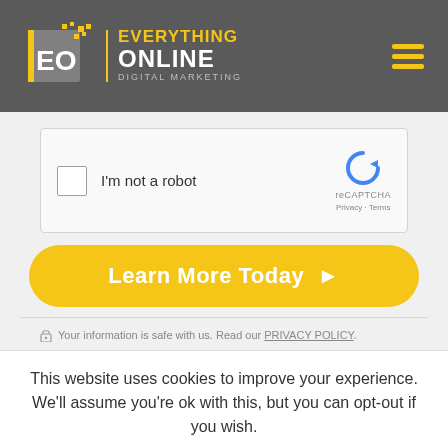[Figure (logo): Everything Online Digital Marketing logo with yellow/grey EO icon and text on dark grey header background with hamburger menu icon]
[Figure (other): reCAPTCHA widget with checkbox, 'I'm not a robot' text, reCAPTCHA logo, Privacy and Terms links]
Learn More Today ▶
Your information is safe with us. Read our PRIVACY POLICY.
This website uses cookies to improve your experience. We'll assume you're ok with this, but you can opt-out if you wish.
Cookie settings
ACCEPT